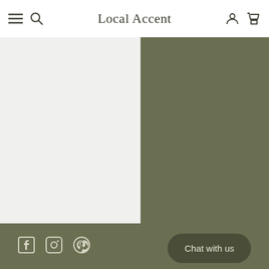Local Accent
[Figure (photo): Product image placeholder - light grey rectangle]
[Figure (infographic): Social media icons: Facebook, Instagram, Pinterest]
QUICK LINKS
Gift Cards
Contact Us
Return Policy
Shipping Policy
Chat with us